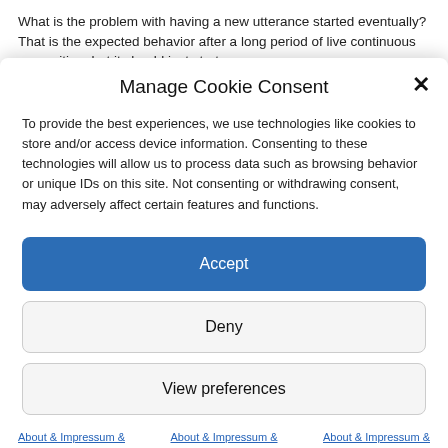What is the problem with having a new utterance started eventually? That is the expected behavior after a long period of live continuous recognition, but it should just start a new
Manage Cookie Consent
To provide the best experiences, we use technologies like cookies to store and/or access device information. Consenting to these technologies will allow us to process data such as browsing behavior or unique IDs on this site. Not consenting or withdrawing consent, may adversely affect certain features and functions.
Accept
Deny
View preferences
About & Impressum & Privacy Policy
About & Impressum & Privacy Policy
About & Impressum & Privacy Policy